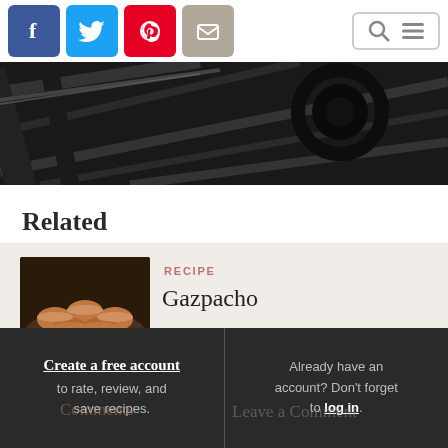[Figure (screenshot): Website header with social share icons (Facebook, Twitter, Pinterest, Email) and search/menu navigation icons on the right]
[Figure (photo): Close-up photo of a dark black cast iron stove grate or burner]
Related
[Figure (photo): Small thumbnail photo of gazpacho soup served in small white cups on a tray with ice]
RECIPE
Gazpacho
Create a free account to rate, review, and save recipes.
Already have an account? Don't forget to log in.